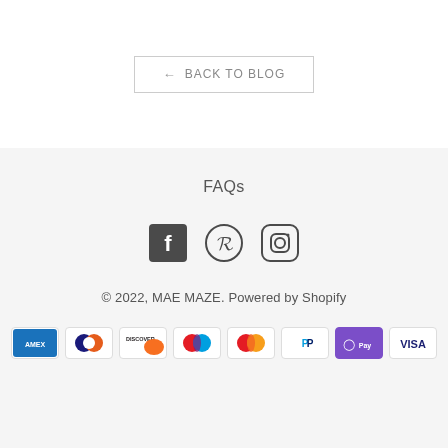← BACK TO BLOG
FAQs
[Figure (other): Social media icons: Facebook, Pinterest, Instagram]
© 2022, MAE MAZE. Powered by Shopify
[Figure (other): Payment method icons: American Express, Diners Club, Discover, Maestro, Mastercard, PayPal, Apple Pay, Visa]